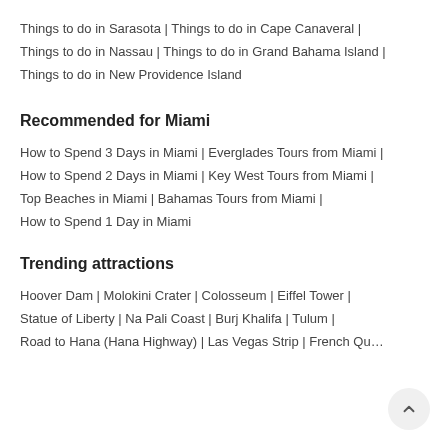Things to do in Sarasota | Things to do in Cape Canaveral | Things to do in Nassau | Things to do in Grand Bahama Island | Things to do in New Providence Island
Recommended for Miami
How to Spend 3 Days in Miami | Everglades Tours from Miami | How to Spend 2 Days in Miami | Key West Tours from Miami | Top Beaches in Miami | Bahamas Tours from Miami | How to Spend 1 Day in Miami
Trending attractions
Hoover Dam | Molokini Crater | Colosseum | Eiffel Tower | Statue of Liberty | Na Pali Coast | Burj Khalifa | Tulum | Road to Hana (Hana Highway) | Las Vegas Strip | French Qu...